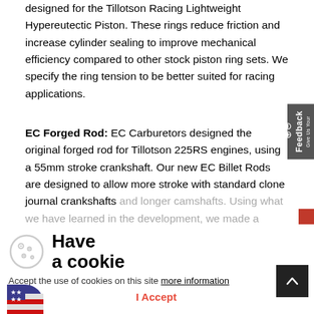designed for the Tillotson Racing Lightweight Hypereutectic Piston. These rings reduce friction and increase cylinder sealing to improve mechanical efficiency compared to other stock piston ring sets. We specify the ring tension to be better suited for racing applications.
EC Forged Rod: EC Carburetors designed the original forged rod for Tillotson 225RS engines, using a 55mm stroke crankshaft. Our new EC Billet Rods are designed to allow more stroke with standard clone journal crankshafts and longer camshafts. Using what we have learned in the development, we made a stronger rod for RPMs above 6500rpms and higher output. This rod is made in-house and is exclusive to our engine combination.
[Figure (other): Cookie consent banner with cookie icon, 'Have a cookie' heading, acceptance text with 'more information' link, and 'I Accept' button in red]